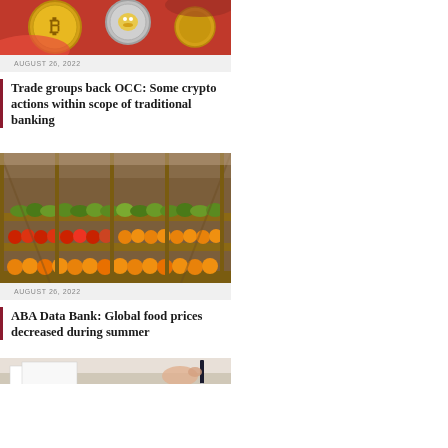[Figure (photo): Crypto coins including Bitcoin and Dogecoin physical coins on red background]
AUGUST 26, 2022
Trade groups back OCC: Some crypto actions within scope of traditional banking
[Figure (photo): Grocery store produce aisle with wooden shelves of fruits including apples, bananas, and oranges]
AUGUST 26, 2022
ABA Data Bank: Global food prices decreased during summer
[Figure (photo): Person at desk with documents, partial view]